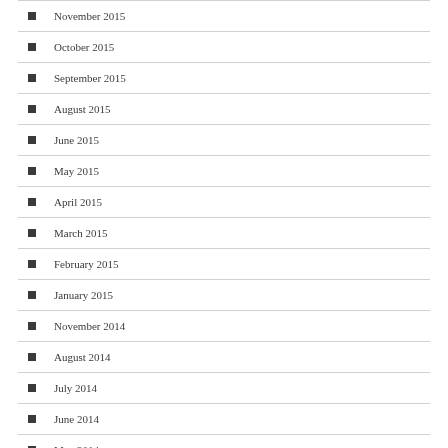November 2015
October 2015
September 2015
August 2015
June 2015
May 2015
April 2015
March 2015
February 2015
January 2015
November 2014
August 2014
July 2014
June 2014
May 2014